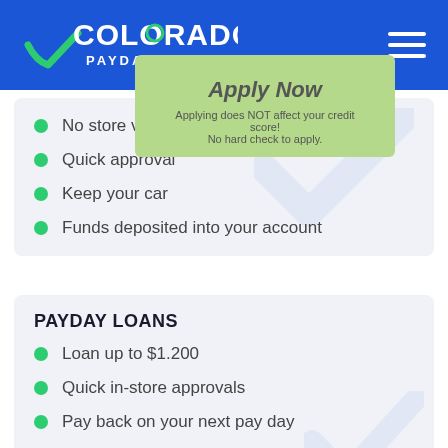[Figure (logo): Colorado Payday Loan logo with green checkmark and white text on blue header background]
No store visit required
Quick approval
Keep your car
Funds deposited into your account
PAYDAY LOANS
Loan up to $1.200
Quick in-store approvals
Pay back on your next pay day
Neighborhood locations
Apply Now
Applying does NOT affect your credit score!
No hard check to apply.